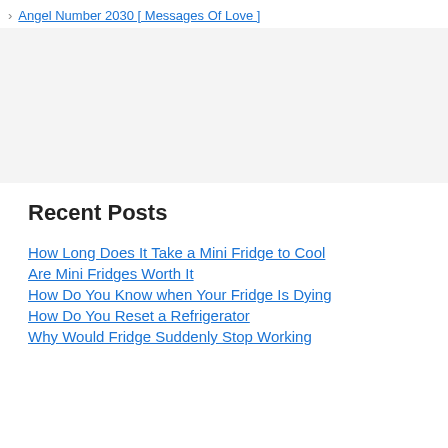Angel Number 2030 [ Messages Of Love ]
Recent Posts
How Long Does It Take a Mini Fridge to Cool
Are Mini Fridges Worth It
How Do You Know when Your Fridge Is Dying
How Do You Reset a Refrigerator
Why Would Fridge Suddenly Stop Working